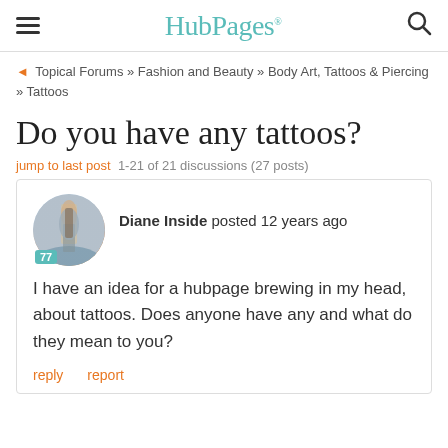HubPages
Topical Forums » Fashion and Beauty » Body Art, Tattoos & Piercing » Tattoos
Do you have any tattoos?
jump to last post  1-21 of 21 discussions (27 posts)
Diane Inside posted 12 years ago
I have an idea for a hubpage brewing in my head, about tattoos. Does anyone have any and what do they mean to you?
reply   report